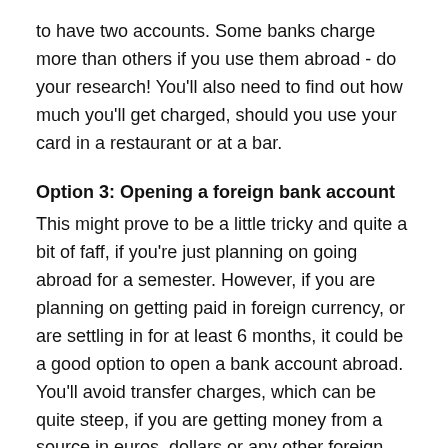to have two accounts. Some banks charge more than others if you use them abroad - do your research! You'll also need to find out how much you'll get charged, should you use your card in a restaurant or at a bar.
Option 3: Opening a foreign bank account
This might prove to be a little tricky and quite a bit of faff, if you're just planning on going abroad for a semester. However, if you are planning on getting paid in foreign currency, or are settling in for at least 6 months, it could be a good option to open a bank account abroad. You'll avoid transfer charges, which can be quite steep, if you are getting money from a source in euros, dollars or any other foreign currency. Another advantage to getting a foreign bank account, generally speaking, is that you won't be charged for taking money out, or for paying with